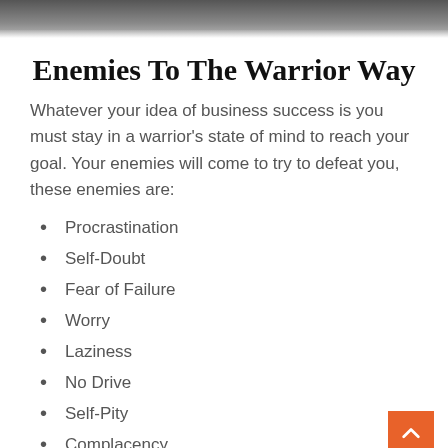[Figure (photo): Black and white close-up photo of a person's face, partially visible at the top of the page]
Enemies To The Warrior Way
Whatever your idea of business success is you must stay in a warrior's state of mind to reach your goal. Your enemies will come to try to defeat you, these enemies are:
Procrastination
Self-Doubt
Fear of Failure
Worry
Laziness
No Drive
Self-Pity
Complacency